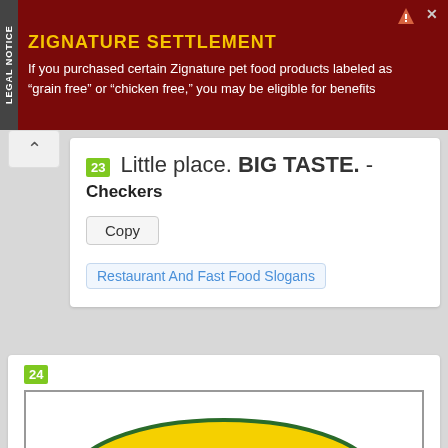[Figure (screenshot): Advertisement banner for Zignature Settlement legal notice. Dark red background with yellow title text 'ZIGNATURE SETTLEMENT' and white body text: 'If you purchased certain Zignature pet food products labeled as "grain free" or "chicken free," you may be eligible for benefits'. Vertical 'LEGAL NOTICE' label on left side.]
23  Little place. BIG TASTE. -
Checkers
Copy
Restaurant And Fast Food Slogans
24
[Figure (logo): Sonic Drive-In logo. Yellow and blue starburst/boomerang shape with red text 'SONIC' in large bold letters, and blue text 'America's Drive-In' below.]